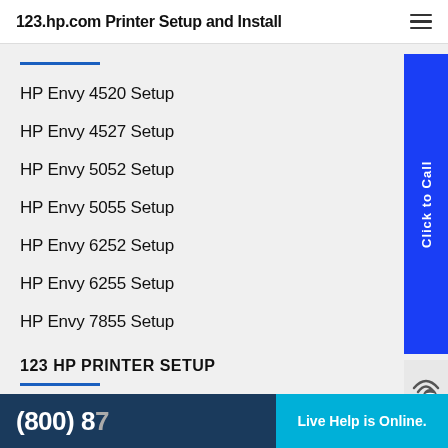123.hp.com Printer Setup and Install
HP Envy 4520 Setup
HP Envy 4527 Setup
HP Envy 5052 Setup
HP Envy 5055 Setup
HP Envy 6252 Setup
HP Envy 6255 Setup
HP Envy 7855 Setup
123 HP PRINTER SETUP
HP Officejet 4650 Setup
[Figure (other): Click to Call sidebar button (blue, vertical text)]
[Figure (other): Phone/wifi icon]
[Figure (other): Live chat bubble: Hi! He... help... USB or...]
(800) 8...
Live Help is Online.